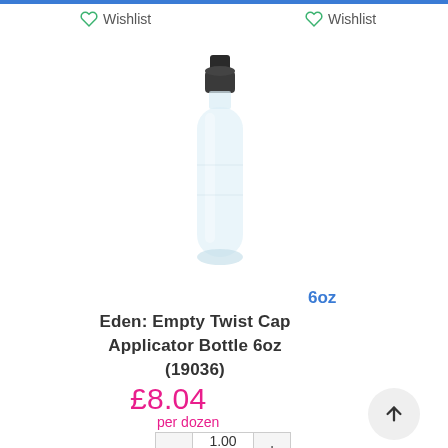Wishlist
Wishlist
[Figure (photo): A clear plastic 6oz twist cap applicator bottle with a dark twist cap, shown against a white background.]
6oz
Eden: Empty Twist Cap Applicator Bottle 6oz (19036)
£8.04
per dozen
- 1.00 +